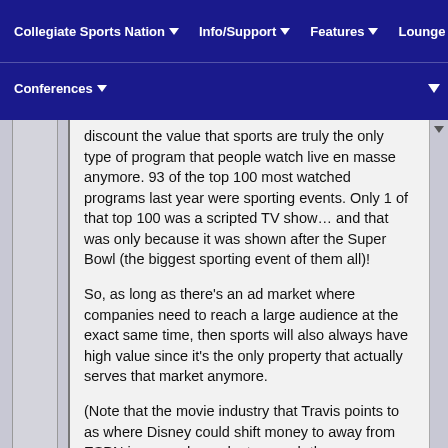Collegiate Sports Nation | Info/Support | Features | Lounge | Conferences
discount the value that sports are truly the only type of program that people watch live en masse anymore. 93 of the top 100 most watched programs last year were sporting events. Only 1 of that top 100 was a scripted TV show… and that was only because it was shown after the Super Bowl (the biggest sporting event of them all)!
So, as long as there's an ad market where companies need to reach a large audience at the exact same time, then sports will also always have high value since it's the only property that actually serves that market anymore.
(Note that the movie industry that Travis points to as where Disney could shift money to away from ESPN is super dependent on such the advertising…To some extent...